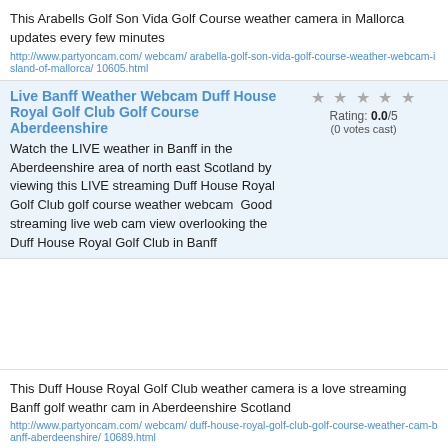This Arabells Golf Son Vida Golf Course weather camera in Mallorca updates every few minutes
http://www.partyoncam.com/webcam/arabella-golf-son-vida-golf-course-weather-webcam-island-of-mallorca/10605.html
Live Banff Weather Webcam Duff House Royal Golf Club Golf Course Aberdeenshire
Watch the LIVE weather in Banff in the Aberdeenshire area of north east Scotland by viewing this LIVE streaming Duff House Royal Golf Club golf course weather webcam  Good streaming live web cam view overlooking the Duff House Royal Golf Club in Banff
Rating: 0.0/5 (0 votes cast)
This Duff House Royal Golf Club weather camera is a love streaming Banff golf weathr cam in Aberdeenshire Scotland
http://www.partyoncam.com/webcam/duff-house-royal-golf-club-golf-course-weather-cam-banff-aberdeenshire/10689.html
Live Bonita Golf Club Golf Course Web Cam Bonita Springs Florida
Rating: 0.0/5